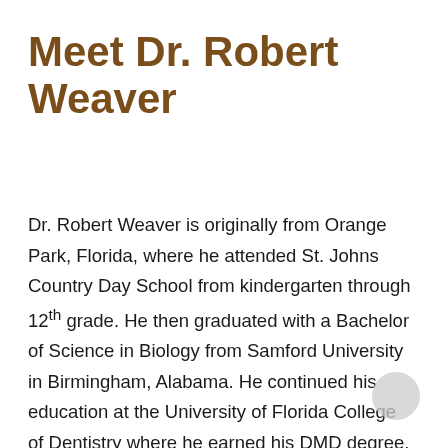Meet Dr. Robert Weaver
Dr. Robert Weaver is originally from Orange Park, Florida, where he attended St. Johns Country Day School from kindergarten through 12th grade. He then graduated with a Bachelor of Science in Biology from Samford University in Birmingham, Alabama. He continued his education at the University of Florida College of Dentistry where he earned his DMD degree. He completed his two-year pediatric dental residency at the University of Florida, where he served as Chief Resident in his